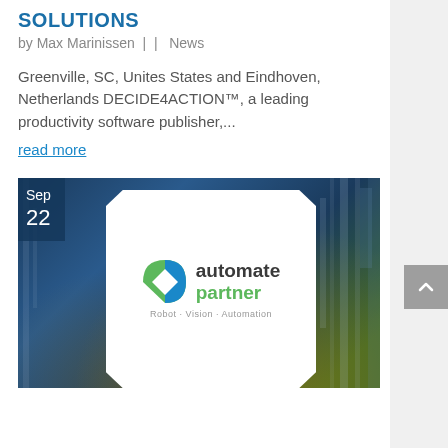SOLUTIONS
by Max Marinissen | | News
Greenville, SC, Unites States and Eindhoven, Netherlands DECIDE4ACTION™, a leading productivity software publisher,...
read more
[Figure (photo): Automate partner logo on white card overlay on industrial background with Sep 22 date badge. Logo shows 'automate partner Robot · Vision · Automation' with green/blue icon.]